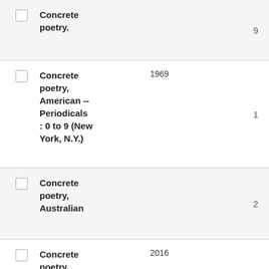Concrete poetry.
Concrete poetry, American -- Periodicals : 0 to 9 (New York, N.Y.)
Concrete poetry, Australian
Concrete poetry,